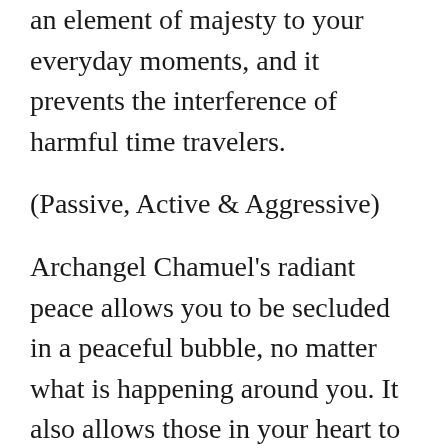an element of majesty to your everyday moments, and it prevents the interference of harmful time travelers.
(Passive, Active & Aggressive)
Archangel Chamuel's radiant peace allows you to be secluded in a peaceful bubble, no matter what is happening around you. It also allows those in your heart to have protection as well.
(Passive and Active)
Archangel Jerimiel's enhanced intuition allows your soul's voices to become louder; it enables